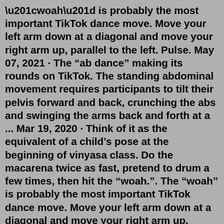“woah” is probably the most important TikTok dance move. Move your left arm down at a diagonal and move your right arm up, parallel to the left. Pulse. May 07, 2021 · The "ab dance" making its rounds on TikTok. The standing abdominal movement requires participants to tilt their pelvis forward and back, crunching the abs and swinging the arms back and forth at a ... Mar 19, 2020 · Think of it as the equivalent of a child’s pose at the beginning of vinyasa class. Do the macarena twice as fast, pretend to drum a few times, then hit the “woah.”. The “woah” is probably the most important TikTok dance move. Move your left arm down at a diagonal and move your right arm up, parallel to the left. Pulse. Dance se souber tiktok 2022dance se souber tik tok brasil dance se souber tik tok brasil dance se souber tik tok brasil dance se souber tik tok brasil dance ... Apr 17, 2020 · First and foremost, the easiest dance to learn on tik-tok is Sugar by BROCKHAMPTON. This cute and simple dance can be done with a partner or individually. Whichever you prefer, it will